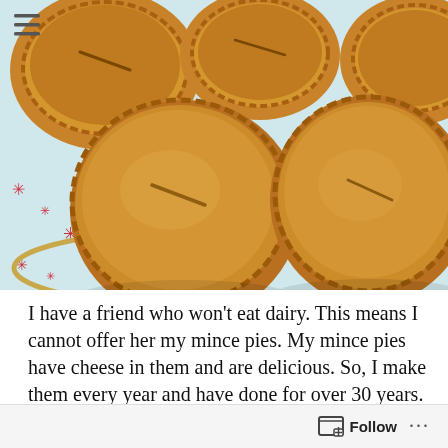[Figure (photo): A plate of golden-brown mince pies arranged on a white plate with a red and white star-patterned surface/cloth. The pies have crimped pastry edges and small slits on top. The background shows the same festive red star pattern fabric.]
I have a friend who won't eat dairy. This means I cannot offer her my mince pies. My mince pies have cheese in them and are delicious. So, I make them every year and have done for over 30 years. The recipe is not mine but instead is the work of the prolific Josceline Dimbleby from her 1978 book Cooking for Christmas